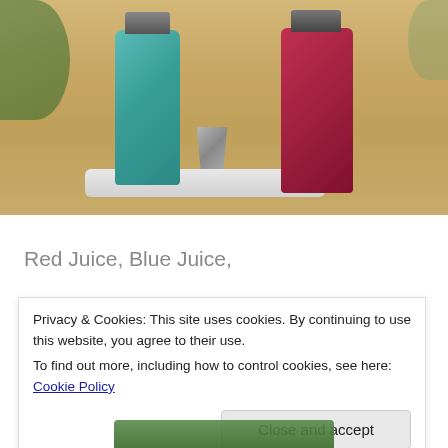[Figure (photo): Two juice bottles on a metal tray on a wooden table: a tall teal/green bottle with black cap on the left, a square red/burgundy bottle with black cap on the right, and a small metal shot glass/jigger in the center between them. Green plants visible in background.]
Red Juice, Blue Juice,
Me Juice, You Juice… Lots of Juicing options at the
Sporting Club of the Pacific   All Natural Ingredients!
Privacy & Cookies: This site uses cookies. By continuing to use this website, you agree to their use.
To find out more, including how to control cookies, see here: Cookie Policy
Close and accept